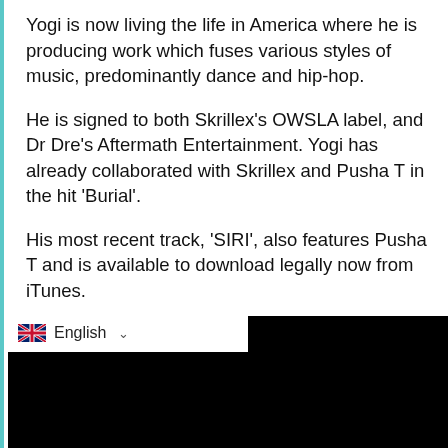Yogi is now living the life in America where he is producing work which fuses various styles of music, predominantly dance and hip-hop.
He is signed to both Skrillex's OWSLA label, and Dr Dre's Aftermath Entertainment. Yogi has already collaborated with Skrillex and Pusha T in the hit 'Burial'.
His most recent track, 'SIRI', also features Pusha T and is available to download legally now from iTunes.
Being signed to both one of the biggest DJ's and rap producers in the world, Yogi's future looks extremely bright. 2016 is sure to offer us more big collaborations between him and world renowned superstars.
[Figure (screenshot): Black video player area with an English language selector overlay showing UK flag and dropdown]